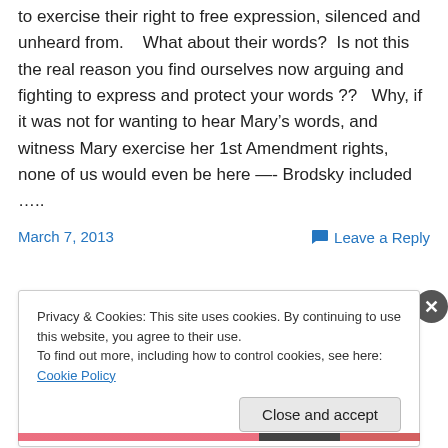to exercise their right to free expression, silenced and unheard from.    What about their words?  Is not this the real reason you find ourselves now arguing and fighting to express and protect your words ??   Why, if it was not for wanting to hear Mary’s words, and witness Mary exercise her 1st Amendment rights, none of us would even be here —- Brodsky included …..
March 7, 2013
Leave a Reply
Privacy & Cookies: This site uses cookies. By continuing to use this website, you agree to their use.
To find out more, including how to control cookies, see here: Cookie Policy
Close and accept